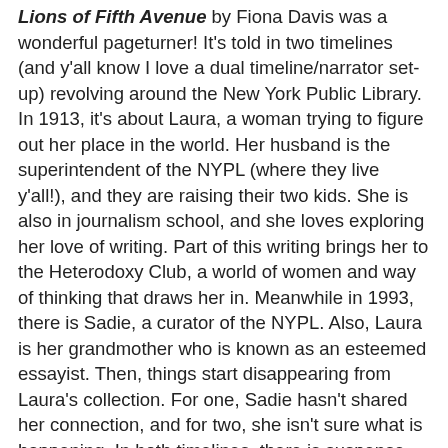Lions of Fifth Avenue by Fiona Davis was a wonderful pageturner! It's told in two timelines (and y'all know I love a dual timeline/narrator set-up) revolving around the New York Public Library. In 1913, it's about Laura, a woman trying to figure out her place in the world. Her husband is the superintendent of the NYPL (where they live y'all!), and they are raising their two kids. She is also in journalism school, and she loves exploring her love of writing. Part of this writing brings her to the Heterodoxy Club, a world of women and way of thinking that draws her in. Meanwhile in 1993, there is Sadie, a curator of the NYPL. Also, Laura is her grandmother who is known as an esteemed essayist. Then, things start disappearing from Laura's collection. For one, Sadie hasn't shared her connection, and for two, she isn't sure what is happening. In both timelines, there is suspense about some curious happenings in the library, and the way each woman grows through her story is just wonderfully done. This is one that swept me up into its world, and I didn't want to leave. I loved the suspense and depth of the stories of these two women and loved how the mysteries were revealed!
Clues to the Universe by Christina Li was another one of